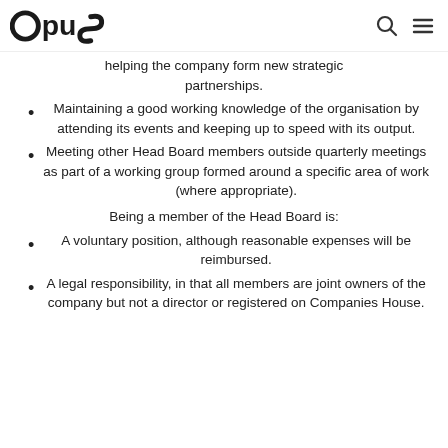opus [logo] [search icon] [menu icon]
helping the company form new strategic partnerships.
Maintaining a good working knowledge of the organisation by attending its events and keeping up to speed with its output.
Meeting other Head Board members outside quarterly meetings as part of a working group formed around a specific area of work (where appropriate).
Being a member of the Head Board is:
A voluntary position, although reasonable expenses will be reimbursed.
A legal responsibility, in that all members are joint owners of the company but not a director or registered on Companies House.